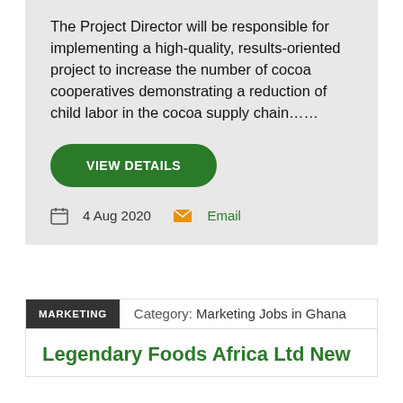The Project Director will be responsible for implementing a high-quality, results-oriented project to increase the number of cocoa cooperatives demonstrating a reduction of child labor in the cocoa supply chain……
VIEW DETAILS
4 Aug 2020  Email
MARKETING  Category: Marketing Jobs in Ghana
Legendary Foods Africa Ltd New